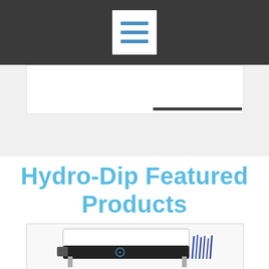[Figure (screenshot): Dark gray navigation bar with white hamburger menu icon containing three blue horizontal lines]
[Figure (photo): Hydro-dip tank machine with white casing, black front panel, blue logo, and accessories/tubes on the side]
Hydro-Dip Featured Products